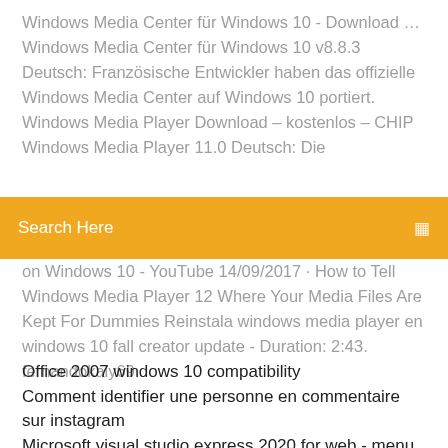Windows Media Center für Windows 10 - Download … Windows Media Center für Windows 10 v8.8.3 Deutsch: Französische Entwickler haben das offizielle Windows Media Center auf Windows 10 portiert. Windows Media Player Download – kostenlos – CHIP Windows Media Player 11.0 Deutsch: Die
Search Here
on Windows 10 - YouTube 14/09/2017 · How to Tell Windows Media Player 12 Where Your Media Files Are Kept For Dummies Reinstala windows media player en windows 10 fall creator update - Duration: 2:43. fernandokaly69
Office 2007 windows 10 compatibility
Comment identifier une personne en commentaire sur instagram
Microsoft visual studio express 2020 for web - menu
Vlc windows 7 32 bit offline installer
Find out pro gratuit télécharger for windows 10